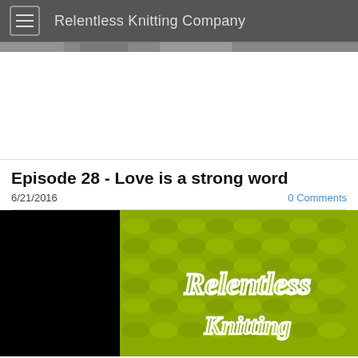Relentless Knitting Company
[Figure (photo): Partial hero image strip showing knitting texture at top of page]
[Figure (other): White advertisement area]
Episode 28 - Love is a strong word
6/21/2016
0 Comments
[Figure (photo): Podcast thumbnail image showing yellow-green knitting texture with white outlined text reading 'Relentless' on a partially black background]